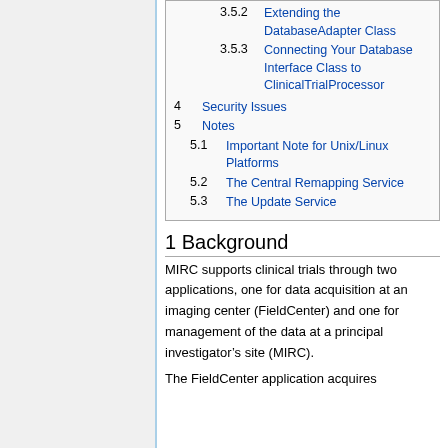3.5.2 Extending the DatabaseAdapter Class
3.5.3 Connecting Your Database Interface Class to ClinicalTrialProcessor
4 Security Issues
5 Notes
5.1 Important Note for Unix/Linux Platforms
5.2 The Central Remapping Service
5.3 The Update Service
1 Background
MIRC supports clinical trials through two applications, one for data acquisition at an imaging center (FieldCenter) and one for management of the data at a principal investigator’s site (MIRC).
The FieldCenter application acquires...